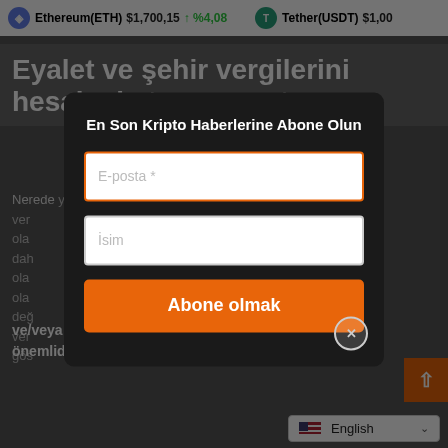Ethereum(ETH) $1,700,15 ↑ %4,08   Tether(USDT) $1,00
Eyalet ve şehir vergilerini hesaba katmayı unutmayın
Nerede yaşadığınıza bağlı olarak, federal gelir vergisi olan daha fazla vergi ödemeniz gerekebilir. olarak değil olan vergi gösterilmektedir beli
ve/veya finansal planlayıcıya danışmak çok önemlidir.
[Figure (screenshot): Modal subscription popup with title 'En Son Kripto Haberlerine Abone Olun', email input field, name input field, and orange subscribe button labeled 'Abone olmak']
English